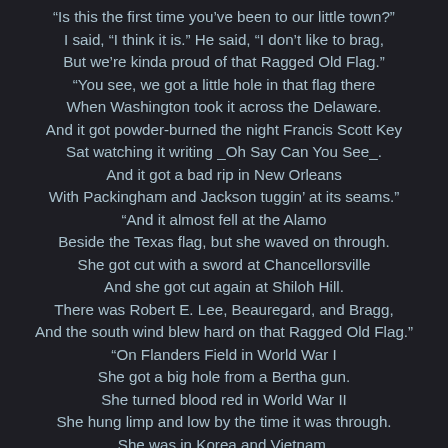"Is this the first time you've been to our little town?"
I said, "I think it is." He said, "I don't like to brag,
But we're kinda proud of that Ragged Old Flag."
"You see, we got a little hole in that flag there
When Washington took it across the Delaware.
And it got powder-burned the night Francis Scott Key
Sat watching it writing _Oh Say Can You See_.
And it got a bad rip in New Orleans
With Packingham and Jackson tuggin' at its seams."
"And it almost fell at the Alamo
Beside the Texas flag, but she waved on through.
She got cut with a sword at Chancellorsville
And she got cut again at Shiloh Hill.
There was Robert E. Lee, Beauregard, and Bragg,
And the south wind blew hard on that Ragged Old Flag."
"On Flanders Field in World War I
She got a big hole from a Bertha gun.
She turned blood red in World War II
She hung limp and low by the time it was through.
She was in Korea and Vietnam.
She went where she was sent by her Uncle Sam."
"She waved from our ships upon the briny foam,